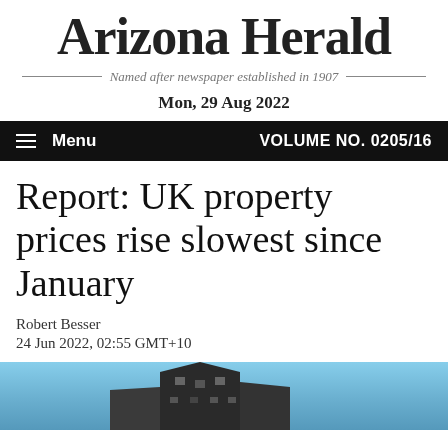Arizona Herald
Named after newspaper established in 1907
Mon, 29 Aug 2022
Menu   VOLUME NO. 0205/16
Report: UK property prices rise slowest since January
Robert Besser
24 Jun 2022, 02:55 GMT+10
[Figure (photo): Photograph of a building with a blue sky background, partially visible at the bottom of the page]